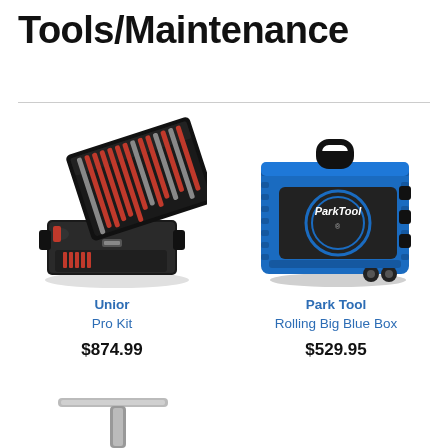Tools/Maintenance
[Figure (photo): Unior Pro Kit open tool case with red-handled tools arranged in lid and lower compartments]
Unior
Pro Kit
$874.99
[Figure (photo): Park Tool Rolling Big Blue Box hard-shell blue rolling tool case with Park Tool logo]
Park Tool
Rolling Big Blue Box
$529.95
[Figure (photo): Partial view of a T-handle or stand tool at bottom of page]